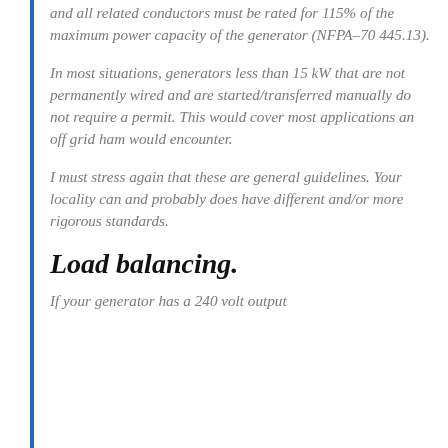and all related conductors must be rated for 115% of the maximum power capacity of the generator (NFPA-70 445.13).
In most situations, generators less than 15 kW that are not permanently wired and are started/transferred manually do not require a permit. This would cover most applications an off grid ham would encounter.
I must stress again that these are general guidelines. Your locality can and probably does have different and/or more rigorous standards.
Load balancing.
If your generator has a 240 volt output